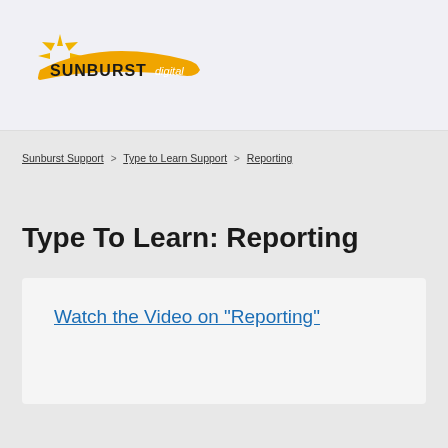[Figure (logo): Sunburst Digital logo with sun rays and orange swoosh]
Sunburst Support > Type to Learn Support > Reporting
Type To Learn: Reporting
Watch the Video on "Reporting"